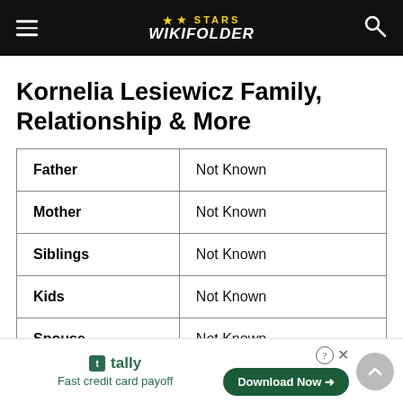Stars Wikifolder
Kornelia Lesiewicz Family, Relationship & More
|  |  |
| --- | --- |
| Father | Not Known |
| Mother | Not Known |
| Siblings | Not Known |
| Kids | Not Known |
| Spouse | Not Known |